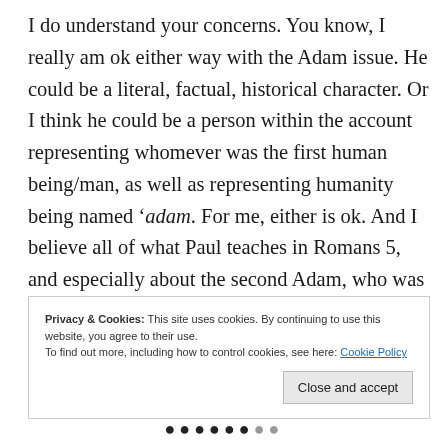I do understand your concerns. You know, I really am ok either way with the Adam issue. He could be a literal, factual, historical character. Or I think he could be a person within the account representing whomever was the first human being/man, as well as representing humanity being named ‘adam. For me, either is ok. And I believe all of what Paul teaches in Romans 5, and especially about the second Adam, who was the true human on behalf of humanity.
Privacy & Cookies: This site uses cookies. By continuing to use this website, you agree to their use.
To find out more, including how to control cookies, see here: Cookie Policy
Close and accept